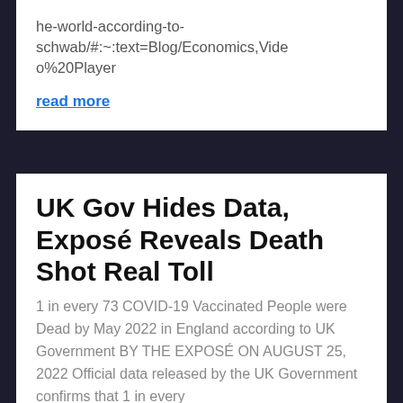he-world-according-to-schwab/#:~:text=Blog/Economics,Video%20Player
read more
UK Gov Hides Data, Exposé Reveals Death Shot Real Toll
1 in every 73 COVID-19 Vaccinated People were Dead by May 2022 in England according to UK Government BY THE EXPOSÉ ON AUGUST 25, 2022 Official data released by the UK Government confirms that 1 in every